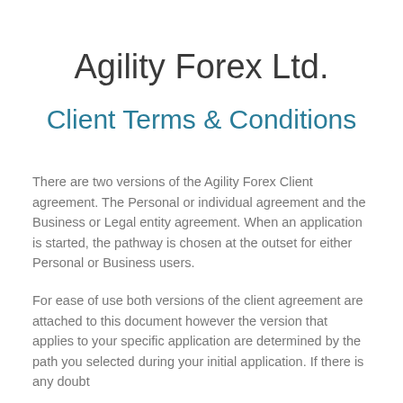Agility Forex Ltd.
Client Terms & Conditions
There are two versions of the Agility Forex Client agreement. The Personal or individual agreement and the Business or Legal entity agreement. When an application is started, the pathway is chosen at the outset for either Personal or Business users.
For ease of use both versions of the client agreement are attached to this document however the version that applies to your specific application are determined by the path you selected during your initial application. If there is any doubt